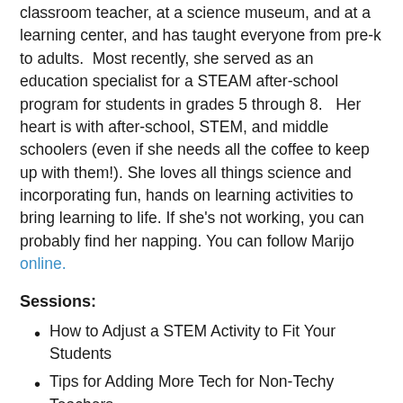classroom teacher, at a science museum, and at a learning center, and has taught everyone from pre-k to adults.  Most recently, she served as an education specialist for a STEAM after-school program for students in grades 5 through 8.   Her heart is with after-school, STEM, and middle schoolers (even if she needs all the coffee to keep up with them!). She loves all things science and incorporating fun, hands on learning activities to bring learning to life. If she's not working, you can probably find her napping. You can follow Marijo online.
Sessions:
How to Adjust a STEM Activity to Fit Your Students
Tips for Adding More Tech for Non-Techy Teachers